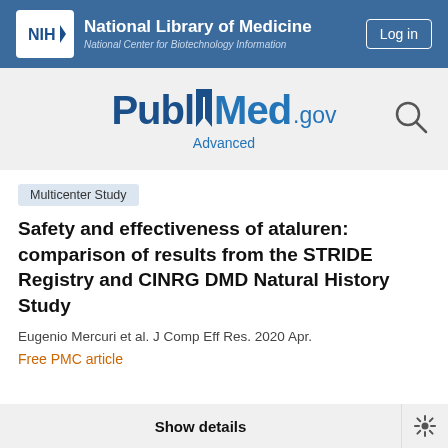NIH National Library of Medicine National Center for Biotechnology Information | Log in
[Figure (logo): PubMed.gov logo with search icon and Advanced link]
Multicenter Study
Safety and effectiveness of ataluren: comparison of results from the STRIDE Registry and CINRG DMD Natural History Study
Eugenio Mercuri et al. J Comp Eff Res. 2020 Apr.
Free PMC article
Show details